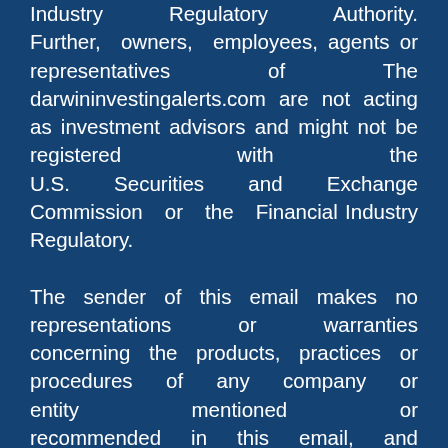Industry Regulatory Authority. Further, owners, employees, agents or representatives of The darwininvestingalerts.com are not acting as investment advisors and might not be registered with the U.S. Securities and Exchange Commission or the Financial Industry Regulatory.
The sender of this email makes no representations or warranties concerning the products, practices or procedures of any company or entity mentioned or recommended in this email, and makes no representations or warranties concerning said company or entity's compliance with applicable laws and regulations, including, but not limited to, regulations promulgated by the SEC or the